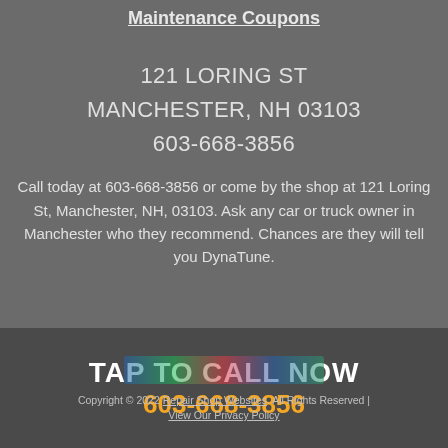Maintenance Coupons
121 LORING ST
MANCHESTER, NH 03103
603-668-3856
Call today at 603-668-3856 or come by the shop at 121 Loring St, Manchester, NH, 03103. Ask any car or truck owner in Manchester who they recommend. Chances are they will tell you DynaTune.
X
TAP TO CALL NOW
603-668-3856
[Figure (other): Payment method logos strip (Visa, Discover, MasterCard, Cash, etc.)]
Copyright © 2022 Repair Shop Websites. All Rights Reserved | View Our Privacy Policy